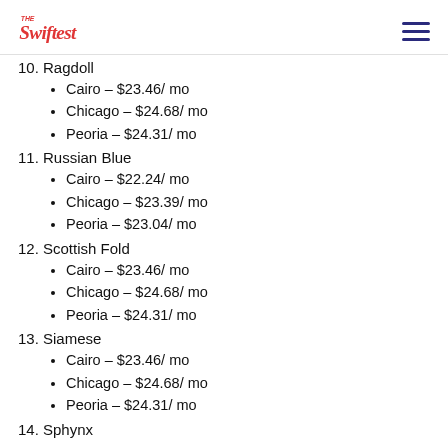The Swiftest
10. Ragdoll
Cairo – $23.46/ mo
Chicago – $24.68/ mo
Peoria – $24.31/ mo
11. Russian Blue
Cairo – $22.24/ mo
Chicago – $23.39/ mo
Peoria – $23.04/ mo
12. Scottish Fold
Cairo – $23.46/ mo
Chicago – $24.68/ mo
Peoria – $24.31/ mo
13. Siamese
Cairo – $23.46/ mo
Chicago – $24.68/ mo
Peoria – $24.31/ mo
14. Sphynx